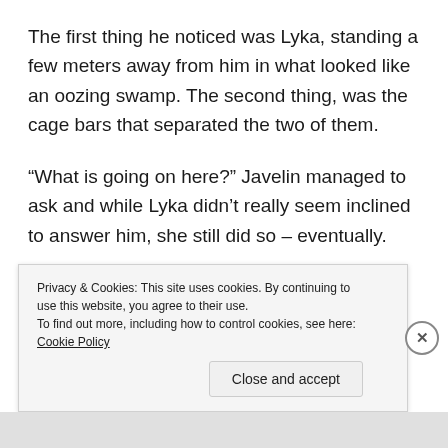The first thing he noticed was Lyka, standing a few meters away from him in what looked like an oozing swamp. The second thing, was the cage bars that separated the two of them.
“What is going on here?” Javelin managed to ask and while Lyka didn’t really seem inclined to answer him, she still did so – eventually.
“Fish boy, I present to you the fifth section of Purgatory Knot, the Northern Realm’s central
Privacy & Cookies: This site uses cookies. By continuing to use this website, you agree to their use.
To find out more, including how to control cookies, see here: Cookie Policy
Close and accept